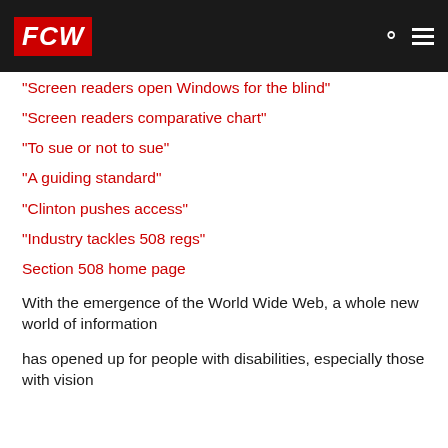FCW
"Screen readers open Windows for the blind"
"Screen readers comparative chart"
"To sue or not to sue"
"A guiding standard"
"Clinton pushes access"
"Industry tackles 508 regs"
Section 508 home page
With the emergence of the World Wide Web, a whole new world of information
has opened up for people with disabilities, especially those with vision